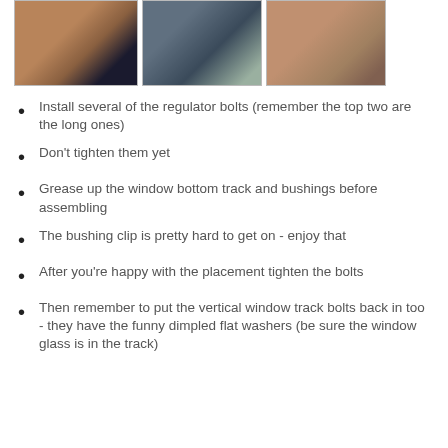[Figure (photo): Three photos showing car door regulator installation steps: left shows gloved hand working on door panel, center shows 3M product can near door components, right shows door panel close-up.]
Install several of the regulator bolts (remember the top two are the long ones)
Don't tighten them yet
Grease up the window bottom track and bushings before assembling
The bushing clip is pretty hard to get on - enjoy that
After you're happy with the placement tighten the bolts
Then remember to put the vertical window track bolts back in too - they have the funny dimpled flat washers (be sure the window glass is in the track)